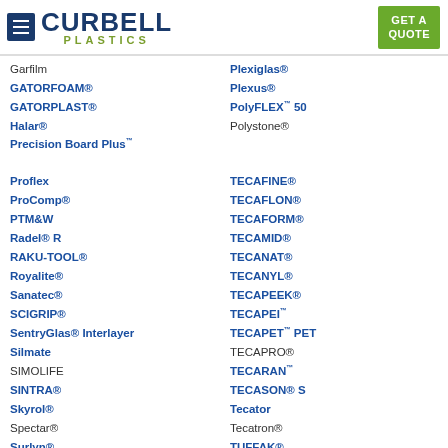Curbell Plastics — GET A QUOTE
Garfilm
GATORFOAM®
GATORPLAST®
Halar®
Precision Board Plus™
Plexiglas®
Plexus®
PolyFLEX™ 50
Polystone®
Proflex
ProComp®
PTM&W
Radel® R
RAKU-TOOL®
Royalite®
Sanatec®
SCIGRIP®
SentryGlas® Interlayer
Silmate
SIMOLIFE
SINTRA®
Skyrol®
Spectar®
Surlyn®
TECAFINE®
TECAFLON®
TECAFORM®
TECAMID®
TECANAT®
TECANYL®
TECAPEEK®
TECAPEI™
TECAPET™ PET
TECAPRO®
TECARAN™
TECASON® S
Tecator
Tecatron®
TUFFAK®